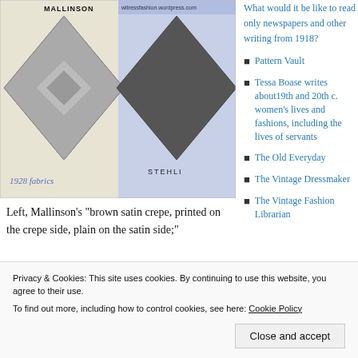[Figure (photo): Two diamond-shaped fabric swatches side by side. Left swatch labeled MALLINSON shows brown satin crepe with printed pattern. Right swatch labeled STEHLI has a different texture. Banner reads 'witressfashion.wordpress.com'. Text '1928 fabrics' at bottom left in blue.]
Left, Mallinson’s “brown satin crepe, printed on the crepe side, plain on the satin side;"
What would it be like to read only newspapers and other writing from 1918?
Pattern Vault
Tessa Boase writes about19th and 20th c. women’s lives and fashions, including the lives of servants
The Old Everyday
The Vintage Dressmaker
The Vintage Fashion Librarian
Privacy & Cookies: This site uses cookies. By continuing to use this website, you agree to their use.
To find out more, including how to control cookies, see here: Cookie Policy